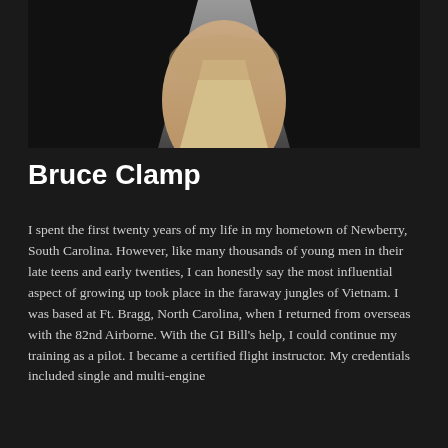[Figure (photo): Partial portrait photo of Bruce Clamp, showing neck/chin area, wearing a dark jacket over a light-colored shirt, against a grey background]
Bruce Clamp
I spent the first twenty years of my life in my hometown of Newberry, South Carolina. However, like many thousands of young men in their late teens and early twenties, I can honestly say the most influential aspect of growing up took place in the faraway jungles of Vietnam. I was based at Ft. Bragg, North Carolina, when I returned from overseas with the 82nd Airborne. With the GI Bill's help, I could continue my training as a pilot. I became a certified flight instructor. My credentials included single and multi-engine